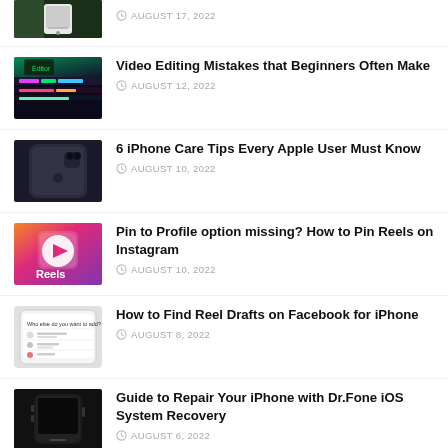[Figure (photo): Hand holding a smartphone, partially visible at top]
AUGUST 17, 2022
[Figure (photo): Video editing software interface with colorful timeline]
Video Editing Mistakes that Beginners Often Make
AUGUST 12, 2022
[Figure (photo): iPhone back view on dark surface]
6 iPhone Care Tips Every Apple User Must Know
AUGUST 10, 2022
[Figure (photo): Instagram Reels icon on gradient background]
Pin to Profile option missing? How to Pin Reels on Instagram
AUGUST 10, 2022
[Figure (screenshot): Facebook phone screenshot showing menu options]
How to Find Reel Drafts on Facebook for iPhone
AUGUST 8, 2022
[Figure (photo): iPhone lying on dark surface]
Guide to Repair Your iPhone with Dr.Fone iOS System Recovery
AUGUST 6, 2022